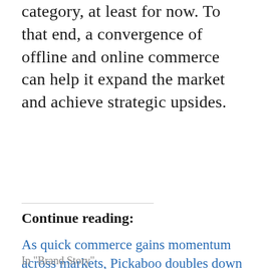category, at least for now. To that end, a convergence of offline and online commerce can help it expand the market and achieve strategic upsides.
Continue reading:
As quick commerce gains momentum across markets, Pickaboo doubles down on faster delivery
In "Brand Story"